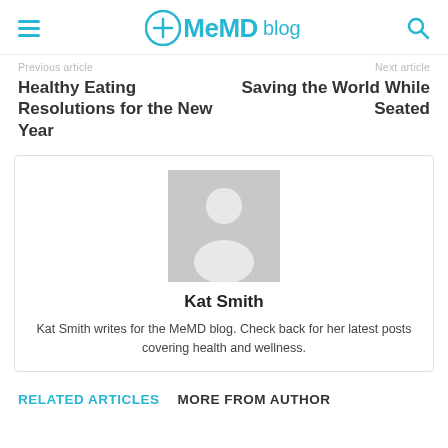MeMD blog
Previous article
Next article
Healthy Eating Resolutions for the New Year
Saving the World While Seated
[Figure (illustration): Author placeholder avatar with silhouette of a person on grey background]
Kat Smith
Kat Smith writes for the MeMD blog. Check back for her latest posts covering health and wellness.
RELATED ARTICLES  MORE FROM AUTHOR